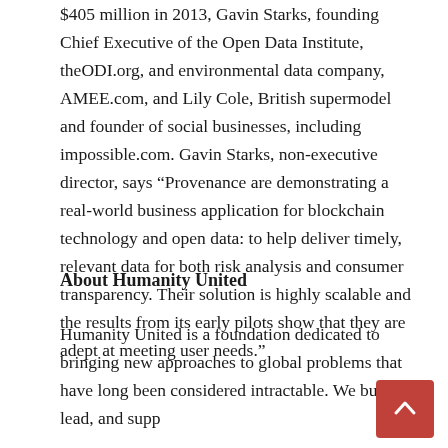$405 million in 2013, Gavin Starks, founding Chief Executive of the Open Data Institute, theODI.org, and environmental data company, AMEE.com, and Lily Cole, British supermodel and founder of social businesses, including impossible.com. Gavin Starks, non-executive director, says “Provenance are demonstrating a real-world business application for blockchain technology and open data: to help deliver timely, relevant data for both risk analysis and consumer transparency. Their solution is highly scalable and the results from its early pilots show that they are adept at meeting user needs.”
About Humanity United
Humanity United is a foundation dedicated to bringing new approaches to global problems that have long been considered intractable. We build, lead, and supp...